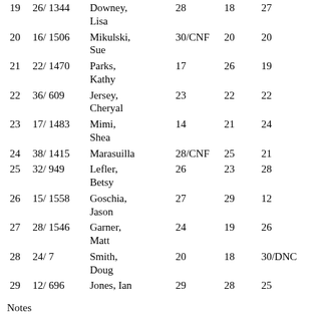| Pos | Sail | Name | R1 | R2 | R3 |
| --- | --- | --- | --- | --- | --- |
| 19 | 26/ 1344 | Downey, Lisa | 28 | 18 | 27 |
| 20 | 16/ 1506 | Mikulski, Sue | 30/CNF | 20 | 20 |
| 21 | 22/ 1470 | Parks, Kathy | 17 | 26 | 19 |
| 22 | 36/ 609 | Jersey, Cheryal | 23 | 22 | 22 |
| 23 | 17/ 1483 | Mimi, Shea | 14 | 21 | 24 |
| 24 | 38/ 1415 | Marasuilla | 28/CNF | 25 | 21 |
| 25 | 32/ 949 | Lefler, Betsy | 26 | 23 | 28 |
| 26 | 15/ 1558 | Goschia, Jason | 27 | 29 | 12 |
| 27 | 28/ 1546 | Garner, Matt | 24 | 19 | 26 |
| 28 | 24/ 7 | Smith, Doug | 20 | 18 | 30/DNC |
| 29 | 12/ 696 | Jones, Ian | 29 | 28 | 25 |
Notes
- Scoring System is ISAF Low Point 2005-2008
- Finishes in [brackets] denote throwouts
- Time limit penalty is DNF